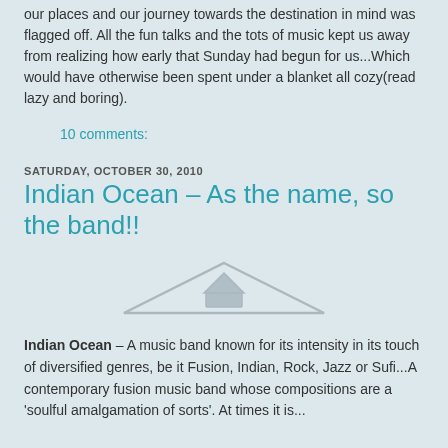our places and our journey towards the destination in mind was flagged off. All the fun talks and the tots of music kept us away from realizing how early that Sunday had begun for us...Which would have otherwise been spent under a blanket all cozy(read lazy and boring).
10 comments:
SATURDAY, OCTOBER 30, 2010
Indian Ocean – As the name, so the band!!
[Figure (illustration): A simple triangular roof/house icon in light grey outline style]
Indian Ocean – A music band known for its intensity in its touch of diversified genres, be it Fusion, Indian, Rock, Jazz or Sufi...A contemporary fusion music band whose compositions are a 'soulful amalgamation of sorts'. At times it is...